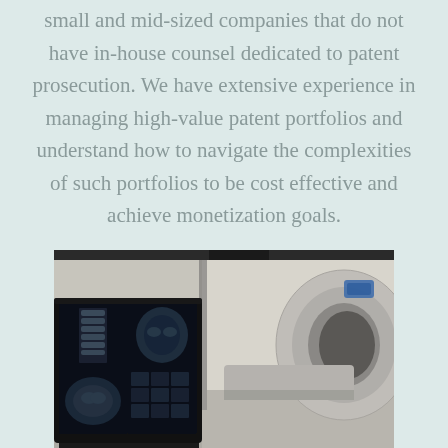small and mid-sized companies that do not have in-house counsel dedicated to patent prosecution. We have extensive experience in managing high-value patent portfolios and understand how to navigate the complexities of such portfolios to be cost effective and achieve monetization goals.
[Figure (photo): Medical imaging workstation showing CT scan images on monitor with a CT scanner machine visible in the background]